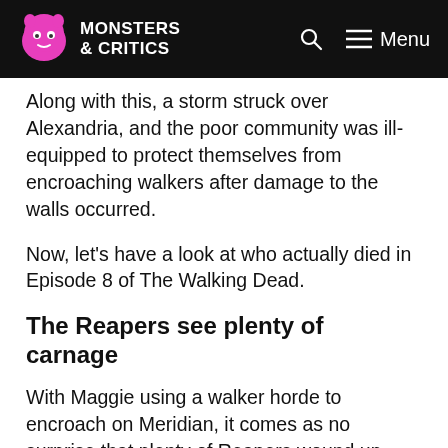Monsters & Critics
Along with this, a storm struck over Alexandria, and the poor community was ill-equipped to protect themselves from encroaching walkers after damage to the walls occurred.
Now, let’s have a look at who actually died in Episode 8 of The Walking Dead.
The Reapers see plenty of carnage
With Maggie using a walker horde to encroach on Meridian, it comes as no surprise that plenty of Reapers wound up dead.
Wells (Robert Hayes) died when he attempted to lead the herd away from Meridian. Maggie and